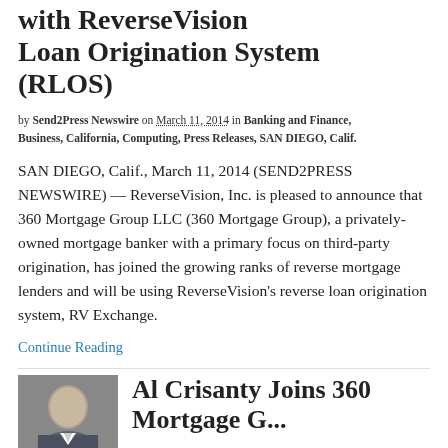with ReverseVision Loan Origination System (RLOS)
by Send2Press Newswire on March 11, 2014 in Banking and Finance, Business, California, Computing, Press Releases, SAN DIEGO, Calif.
SAN DIEGO, Calif., March 11, 2014 (SEND2PRESS NEWSWIRE) — ReverseVision, Inc. is pleased to announce that 360 Mortgage Group LLC (360 Mortgage Group), a privately-owned mortgage banker with a primary focus on third-party origination, has joined the growing ranks of reverse mortgage lenders and will be using ReverseVision's reverse loan origination system, RV Exchange.
Continue Reading
[Figure (photo): Headshot photo of a bald man in a suit]
Al Crisanty Joins 360 Mortgage G...